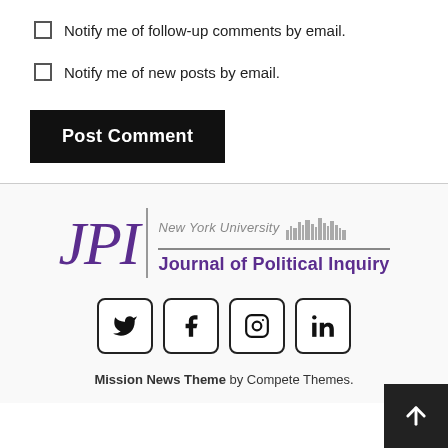Notify me of follow-up comments by email.
Notify me of new posts by email.
Post Comment
[Figure (logo): JPI New York University Journal of Political Inquiry logo with purple serif letters JPI, a vertical divider, NYU skyline silhouette, and text 'New York University Journal of Political Inquiry' in purple]
[Figure (infographic): Four social media icon buttons in rounded square outlines: Twitter (bird), Facebook (f), Instagram (camera), LinkedIn (in)]
Mission News Theme by Compete Themes.